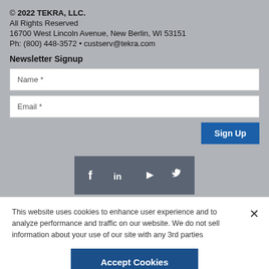© 2022 TEKRA, LLC.
All Rights Reserved
16700 West Lincoln Avenue, New Berlin, WI 53151
Ph: (800) 448-3572 • custserv@tekra.com
Newsletter Signup
Name *
Email *
Sign Up
[Figure (infographic): Social media icons: Facebook, LinkedIn, YouTube, Twitter on dark gray background]
This website uses cookies to enhance user experience and to analyze performance and traffic on our website. We do not sell information about your use of our site with any 3rd parties
Accept Cookies